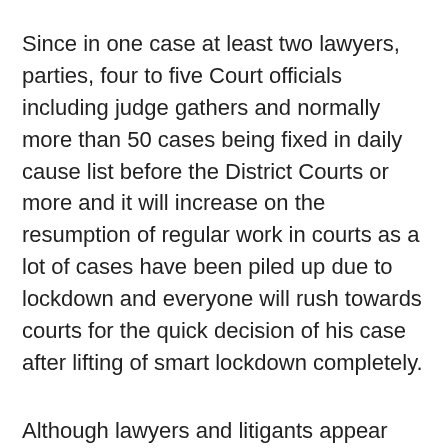Since in one case at least two lawyers, parties, four to five Court officials including judge gathers and normally more than 50 cases being fixed in daily cause list before the District Courts or more and it will increase on the resumption of regular work in courts as a lot of cases have been piled up due to lockdown and everyone will rush towards courts for the quick decision of his case after lifting of smart lockdown completely.
Although lawyers and litigants appear before courts during the trial of cases, the physical appearance of the litigant is not required at various stages of the trial of cases.
Yet, they appear before the court just for their satisfaction.